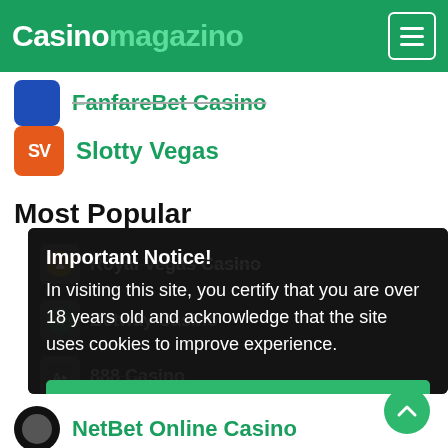Casinomagazino
FanfareBet Casino
Slotty Vegas
Most Popular
[Figure (screenshot): Dark overlay card with cookie/age notice modal. Behind the overlay are partially visible casino list items: Royal Vegas Casino, and others. The modal reads: Important Notice! In visiting this site, you certify that you are over 18 years old and acknowledge that the site uses cookies to improve experience. With an 'I agree' green button.]
NetBet Online Casino